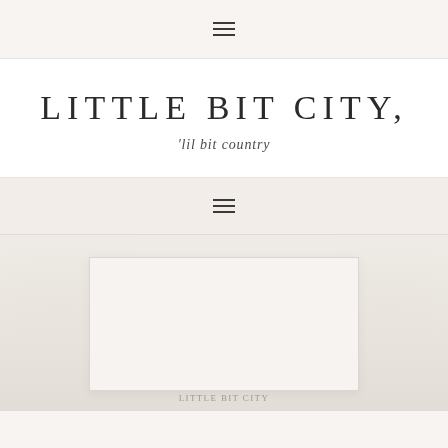navigation menu icon
LITTLE BIT CITY,
'lil bit country
secondary navigation menu icon
[Figure (photo): Faded lifestyle photo preview with a white card/image placeholder centered on a light beige background]